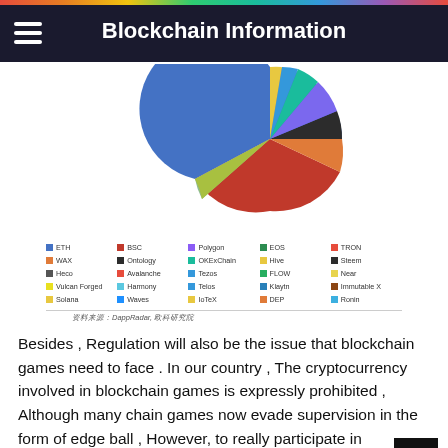Blockchain Information
[Figure (pie-chart): Pie chart showing blockchain game distribution across ETH, BSC, WAX, Ontology, Polygon, OKExChain, EOS, Hive, TRON, Steem, Heco, Avalanche, Tezos, FLOW, Near, Vulcan Forged, Harmony, Telos, Klaytn, Immutable X, Solana, Waves, IoTeX, DEP, Ronin and others]
资料来源：DappRadar, 欧科研究院
Besides , Regulation will also be the issue that blockchain games need to face . In our country , The cryptocurrency involved in blockchain games is expressly prohibited , Although many chain games now evade supervision in the form of edge ball , However, to really participate in blockchain games in China will still face risks .
But the optimistic thing is , The game industry has begun to experience more smoothly ， More subtle visual effects ，